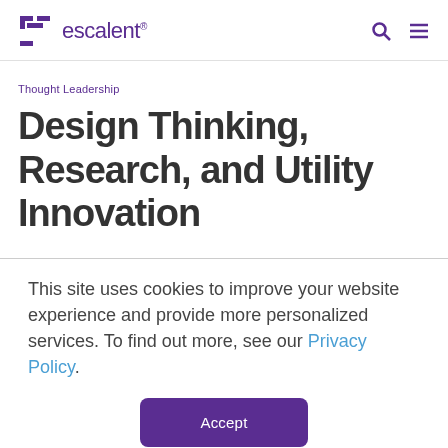escalant® [logo with search and menu icons]
Thought Leadership
Design Thinking, Research, and Utility Innovation
This site uses cookies to improve your website experience and provide more personalized services. To find out more, see our Privacy Policy.